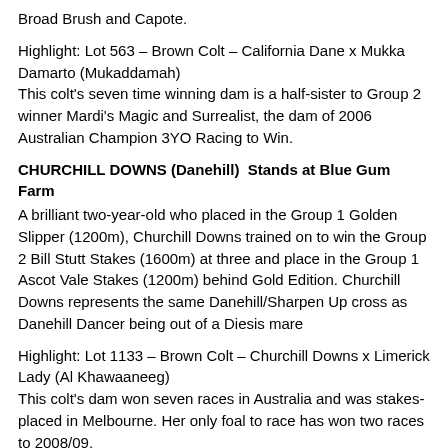Broad Brush and Capote.
Highlight: Lot 563 – Brown Colt – California Dane x Mukka Damarto (Mukaddamah)
This colt's seven time winning dam is a half-sister to Group 2 winner Mardi's Magic and Surrealist, the dam of 2006 Australian Champion 3YO Racing to Win.
CHURCHILL DOWNS (Danehill)  Stands at Blue Gum Farm
A brilliant two-year-old who placed in the Group 1 Golden Slipper (1200m), Churchill Downs trained on to win the Group 2 Bill Stutt Stakes (1600m) at three and place in the Group 1 Ascot Vale Stakes (1200m) behind Gold Edition. Churchill Downs represents the same Danehill/Sharpen Up cross as Danehill Dancer being out of a Diesis mare
Highlight: Lot 1133 – Brown Colt – Churchill Downs x Limerick Lady (Al Khawaaneeg)
This colt's dam won seven races in Australia and was stakes-placed in Melbourne. Her only foal to race has won two races to 2008/09.